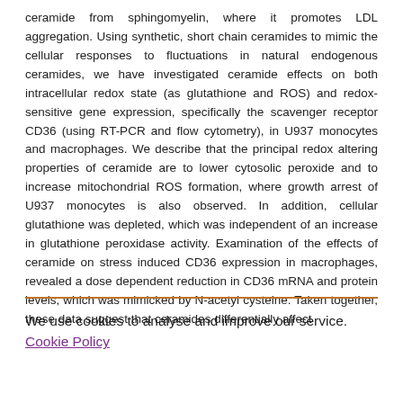ceramide from sphingomyelin, where it promotes LDL aggregation. Using synthetic, short chain ceramides to mimic the cellular responses to fluctuations in natural endogenous ceramides, we have investigated ceramide effects on both intracellular redox state (as glutathione and ROS) and redox-sensitive gene expression, specifically the scavenger receptor CD36 (using RT-PCR and flow cytometry), in U937 monocytes and macrophages. We describe that the principal redox altering properties of ceramide are to lower cytosolic peroxide and to increase mitochondrial ROS formation, where growth arrest of U937 monocytes is also observed. In addition, cellular glutathione was depleted, which was independent of an increase in glutathione peroxidase activity. Examination of the effects of ceramide on stress induced CD36 expression in macrophages, revealed a dose dependent reduction in CD36 mRNA and protein levels, which was mimicked by N-acetyl cysteine. Taken together, these data suggest that ceramides differentially affect
We use cookies to analyse and improve our service. Cookie Policy